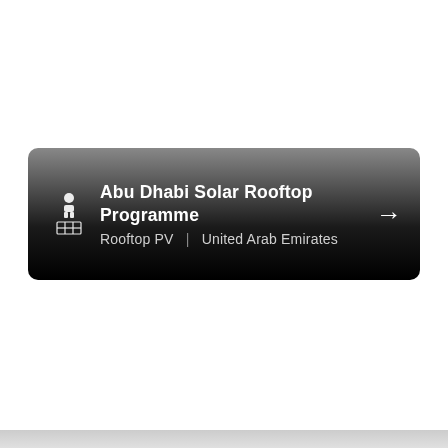[Figure (infographic): A dark card-style UI element with a gradient background (grey to black) showing a solar rooftop programme listing. Contains a solar panel icon on the left, bold white title 'Abu Dhabi Solar Rooftop Programme', subtitle 'Rooftop PV | United Arab Emirates', and a right-arrow on the right. A light grey bar appears at the very bottom of the page.]